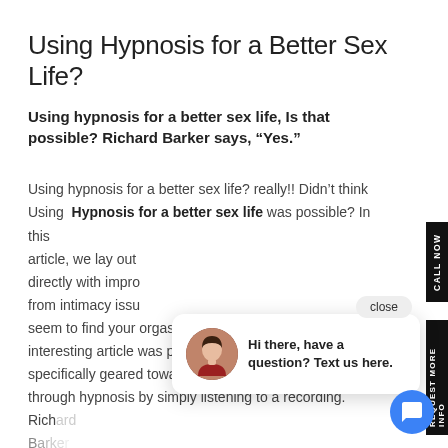Using Hypnosis for a Better Sex Life?
Using hypnosis for a better sex life, Is that possible? Richard Barker says, “Yes.”
Using hypnosis for a better sex life? really!! Didn’t think Using Hypnosis for a better sex life was possible? In this article, we lay out directly with improving intimacy issues seem to find your orgasm, this article will astound you. An interesting article was published in the New York Post specifically geared towards women reaching an orgasm through hypnosis by simply listening to a recording. Richard Barker...
[Figure (other): Chat popup widget with avatar photo of a woman and text: 'Hi there, have a question? Text us here.' with a close button. Also a blue circular chat button in the bottom right corner.]
CALL NOW
REQUEST MORE INFO